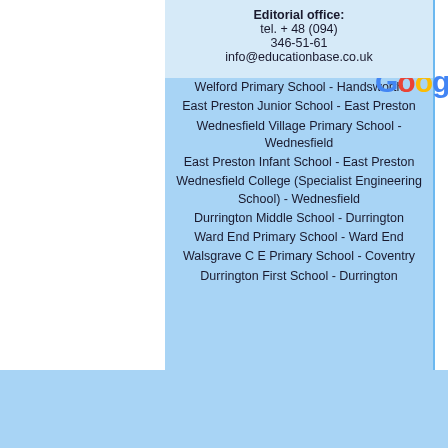Eastergate C E Primary School - Eastergate
West House School - Edgbaston
East Wittering Community Primary School - East Wittering
Welford Primary School - Handsworth
East Preston Junior School - East Preston
Wednesfield Village Primary School - Wednesfield
East Preston Infant School - East Preston
Wednesfield College (Specialist Engineering School) - Wednesfield
Durrington Middle School - Durrington
Ward End Primary School - Ward End
Walsgrave C E Primary School - Coventry
Durrington First School - Durrington
primary
[Figure (logo): Google logo in multicolor letters]
Editorial office: tel. + 48 (094) 346-51-61 info@educationbase.co.uk